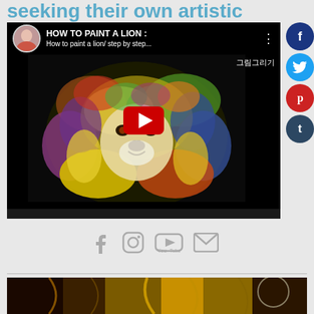seeking their own artistic path.
[Figure (screenshot): YouTube video thumbnail showing a colorful lion painting with title 'How to paint a lion/ step by step' and a Korean channel name. Large red play button in center. Social sharing sidebar on right with Facebook, Twitter, Pinterest, and Tumblr buttons.]
[Figure (infographic): Row of social media icons: Facebook, Instagram, YouTube, and email/envelope icons in gray.]
[Figure (photo): Bottom strip showing a partial view of a golden/dark lion painting.]